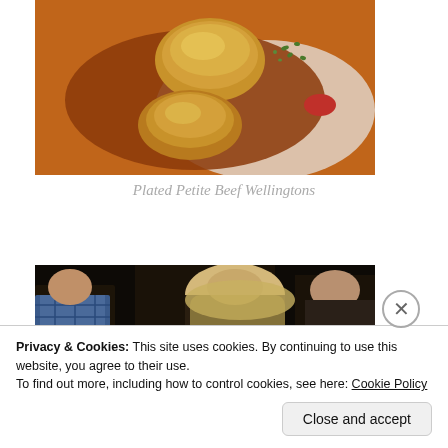[Figure (photo): Close-up photo of plated petite beef wellingtons on a white plate with brown sauce and herb garnish]
Plated Petite Beef Wellingtons
[Figure (photo): Photo of people gathered at an event, taken in dim lighting]
Privacy & Cookies: This site uses cookies. By continuing to use this website, you agree to their use.
To find out more, including how to control cookies, see here: Cookie Policy
Close and accept